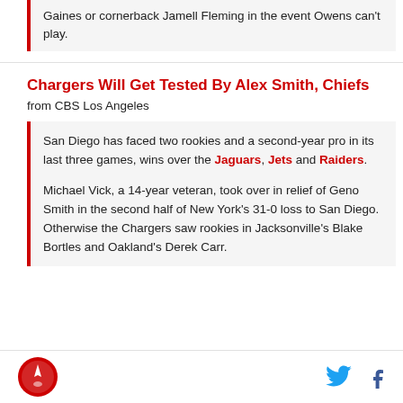Gaines or cornerback Jamell Fleming in the event Owens can't play.
Chargers Will Get Tested By Alex Smith, Chiefs
from CBS Los Angeles
San Diego has faced two rookies and a second-year pro in its last three games, wins over the Jaguars, Jets and Raiders.
Michael Vick, a 14-year veteran, took over in relief of Geno Smith in the second half of New York's 31-0 loss to San Diego. Otherwise the Chargers saw rookies in Jacksonville's Blake Bortles and Oakland's Derek Carr.